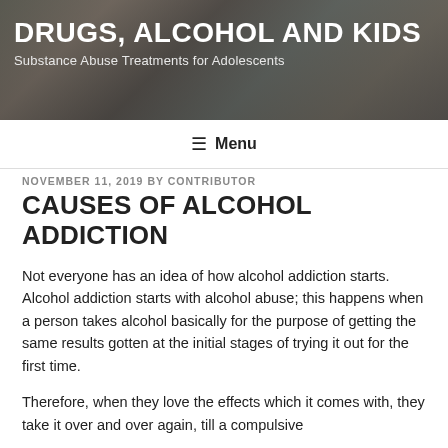[Figure (photo): Header banner photo showing hands, presumably related to drugs/substances, with dark overlay. Website header for 'Drugs, Alcohol and Kids'.]
DRUGS, ALCOHOL AND KIDS
Substance Abuse Treatments for Adolescents
≡ Menu
NOVEMBER 11, 2019 BY CONTRIBUTOR
CAUSES OF ALCOHOL ADDICTION
Not everyone has an idea of how alcohol addiction starts. Alcohol addiction starts with alcohol abuse; this happens when a person takes alcohol basically for the purpose of getting the same results gotten at the initial stages of trying it out for the first time.
Therefore, when they love the effects which it comes with, they take it over and over again, till a compulsive